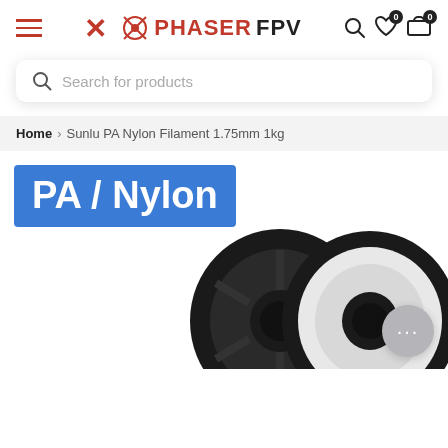PHASER FPV - navigation header with hamburger menu, logo, search, wishlist and cart icons
Search for products
Home > Sunlu PA Nylon Filament 1.75mm 1kg
PA / Nylon
[Figure (photo): A spool of white/transparent Sunlu PA Nylon 3D printer filament 1.75mm 1kg on a black plastic spool, shown from the side]